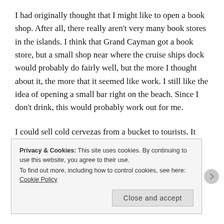I had originally thought that I might like to open a book shop. After all, there really aren't very many book stores in the islands. I think that Grand Cayman got a book store, but a small shop near where the cruise ships dock would probably do fairly well, but the more I thought about it, the more that it seemed like work. I still like the idea of opening a small bar right on the beach. Since I don't drink, this would probably work out for me.
I could sell cold cervezas from a bucket to tourists. It wouldn't be hard work, and I could sit under an umbrella...
Privacy & Cookies: This site uses cookies. By continuing to use this website, you agree to their use.
To find out more, including how to control cookies, see here: Cookie Policy
Close and accept